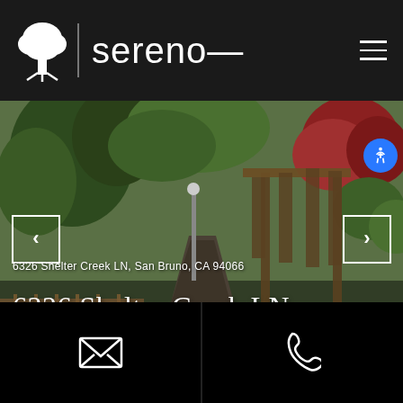Sereno (logo with tree icon and hamburger menu)
[Figure (photo): Outdoor garden walkway with wooden pergola/arbor structure, lush green trees and plants, red-leafed tree visible. Photo of property at 6326 Shelter Creek LN, San Bruno, CA 94066.]
6326 Shelter Creek LN, San Bruno, CA 94066
6326 Shelter Creek LN
$620,000
[Figure (infographic): Email contact button (envelope icon) on black background]
[Figure (infographic): Phone contact button (phone icon) on black background]